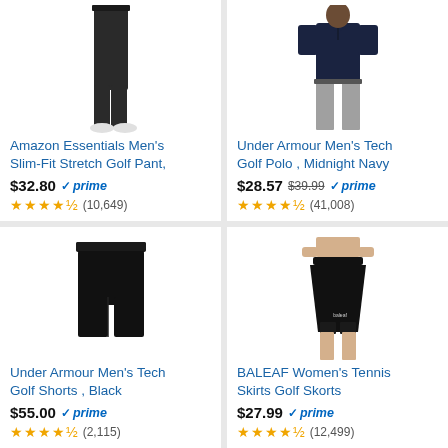[Figure (photo): Man wearing black slim-fit golf pants with white shoes]
Amazon Essentials Men's Slim-Fit Stretch Golf Pant,
$32.80 prime ★★★★½ (10,649)
[Figure (photo): Man wearing midnight navy Under Armour golf polo with grey pants]
Under Armour Men's Tech Golf Polo , Midnight Navy
$28.57 $39.99 prime ★★★★½ (41,008)
[Figure (photo): Black Under Armour men's tech golf shorts]
Under Armour Men's Tech Golf Shorts , Black
$55.00 prime ★★★★½ (2,115)
[Figure (photo): Woman wearing black BALEAF tennis skirt golf skort]
BALEAF Women's Tennis Skirts Golf Skorts
$27.99 prime ★★★★½ (12,499)